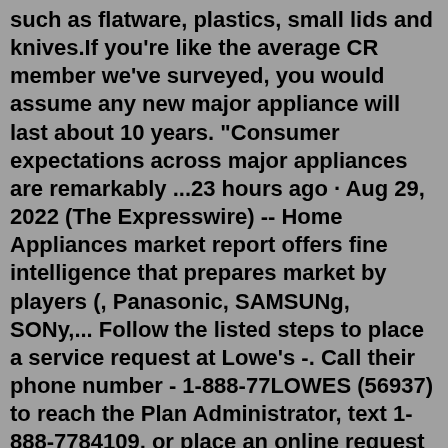such as flatware, plastics, small lids and knives.If you're like the average CR member we've surveyed, you would assume any new major appliance will last about 10 years. "Consumer expectations across major appliances are remarkably ...23 hours ago · Aug 29, 2022 (The Expresswire) -- Home Appliances market report offers fine intelligence that prepares market by players (, Panasonic, SAMSUNg, SONy,... Follow the listed steps to place a service request at Lowe's -. Call their phone number - 1-888-77LOWES (56937) to reach the Plan Administrator, text 1-888-7784109, or place an online request at lowes/help/protectionplans. The request will be verified and approved if the item's covered.Apr 25, 2021 · Article content. South Korea's Samsung Electronics and LG Electronics are among the groups feeling the pinch from manufacturing delays that are forecast to last into 2022. Aug 25, 2022 · Elevate your entertainment and binge-watch your favorite shows this season in full 4K resolution with Samsung's Labor Day TV deals. Take up to $2,400 off